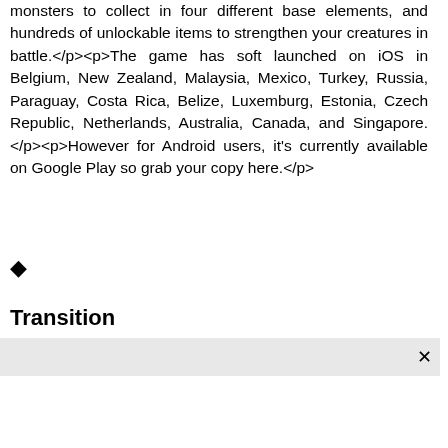monsters to collect in four different base elements, and hundreds of unlockable items to strengthen your creatures in battle.</p><p>The game has soft launched on iOS in Belgium, New Zealand, Malaysia, Mexico, Turkey, Russia, Paraguay, Costa Rica, Belize, Luxemburg, Estonia, Czech Republic, Netherlands, Australia, Canada, and Singapore.</p><p>However for Android users, it's currently available on Google Play so grab your copy here.</p>
◆
Transition